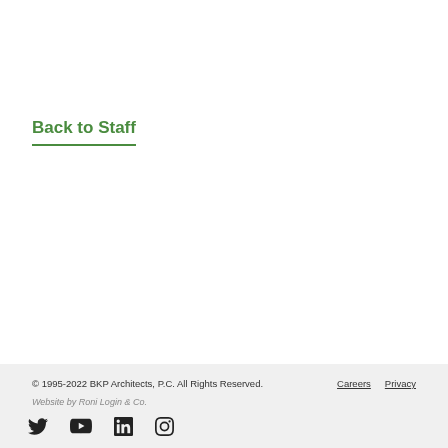Back to Staff
© 1995-2022 BKP Architects, P.C. All Rights Reserved.   Careers   Privacy
Website by Roni Login & Co.